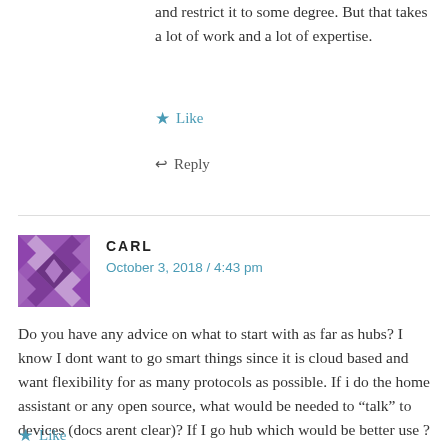and restrict it to some degree. But that takes a lot of work and a lot of expertise.
★ Like
↩ Reply
CARL
October 3, 2018 / 4:43 pm
Do you have any advice on what to start with as far as hubs? I know I dont want to go smart things since it is cloud based and want flexibility for as many protocols as possible. If i do the home assistant or any open source, what would be needed to “talk” to devices (docs arent clear)? If I go hub which would be better use ?
Thank you,
★ Like